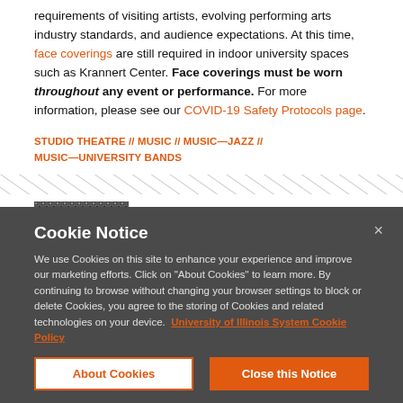requirements of visiting artists, evolving performing arts industry standards, and audience expectations. At this time, face coverings are still required in indoor university spaces such as Krannert Center. Face coverings must be worn throughout any event or performance. For more information, please see our COVID-19 Safety Protocols page.
STUDIO THEATRE // MUSIC // MUSIC—JAZZ // MUSIC—UNIVERSITY BANDS
[Figure (photo): Partial thumbnail of a black and white photograph showing musical instruments or performers]
Cookie Notice
We use Cookies on this site to enhance your experience and improve our marketing efforts. Click on "About Cookies" to learn more. By continuing to browse without changing your browser settings to block or delete Cookies, you agree to the storing of Cookies and related technologies on your device.  University of Illinois System Cookie Policy